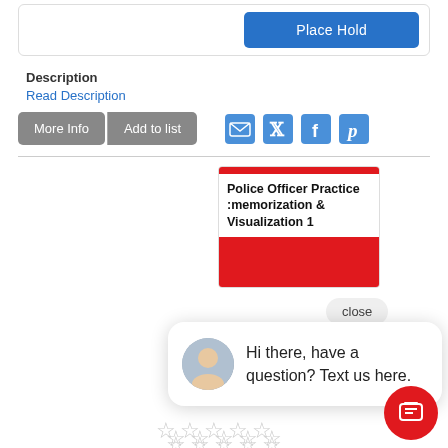Place Hold
Description
Read Description
More Info  Add to list
[Figure (screenshot): Book cover for 'Police Officer Practice :memorization & Visualization 1' with red header and bottom stripe]
close
Hi there, have a question? Text us here.
17)  Police officer practice: memorization & visualization 1